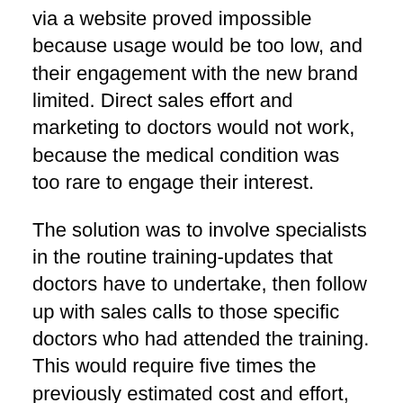via a website proved impossible because usage would be too low, and their engagement with the new brand limited. Direct sales effort and marketing to doctors would not work, because the medical condition was too rare to engage their interest.
The solution was to involve specialists in the routine training-updates that doctors have to undertake, then follow up with sales calls to those specific doctors who had attended the training. This would require five times the previously estimated cost and effort, but deliver attractive results. Current sales volume, worth €1 million in annual profits, would disappear with the loss of the current product.
Pre-existing plans would fail to rebuild more